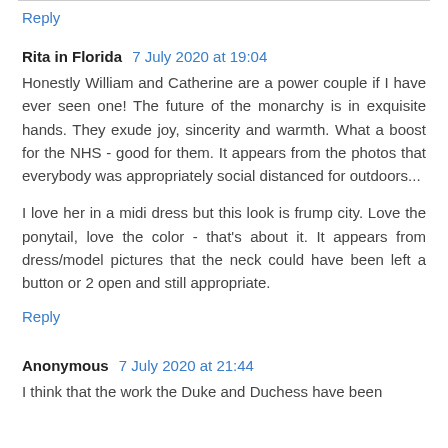Reply
Rita in Florida 7 July 2020 at 19:04
Honestly William and Catherine are a power couple if I have ever seen one! The future of the monarchy is in exquisite hands. They exude joy, sincerity and warmth. What a boost for the NHS - good for them. It appears from the photos that everybody was appropriately social distanced for outdoors...
I love her in a midi dress but this look is frump city. Love the ponytail, love the color - that's about it. It appears from dress/model pictures that the neck could have been left a button or 2 open and still appropriate.
Reply
Anonymous 7 July 2020 at 21:44
I think that the work the Duke and Duchess have been